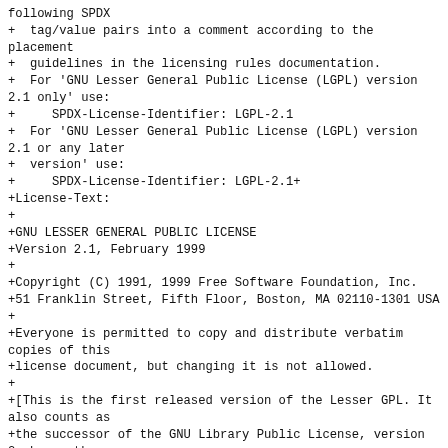following SPDX
+  tag/value pairs into a comment according to the placement
+  guidelines in the licensing rules documentation.
+  For 'GNU Lesser General Public License (LGPL) version 2.1 only' use:
+     SPDX-License-Identifier: LGPL-2.1
+  For 'GNU Lesser General Public License (LGPL) version 2.1 or any later
+  version' use:
+     SPDX-License-Identifier: LGPL-2.1+
+License-Text:
+
+GNU LESSER GENERAL PUBLIC LICENSE
+Version 2.1, February 1999
+
+Copyright (C) 1991, 1999 Free Software Foundation, Inc.
+51 Franklin Street, Fifth Floor, Boston, MA 02110-1301 USA
+
+Everyone is permitted to copy and distribute verbatim copies of this
+license document, but changing it is not allowed.
+
+[This is the first released version of the Lesser GPL. It also counts as
+the successor of the GNU Library Public License, version 2, hence the
+version number 2.1.]
+